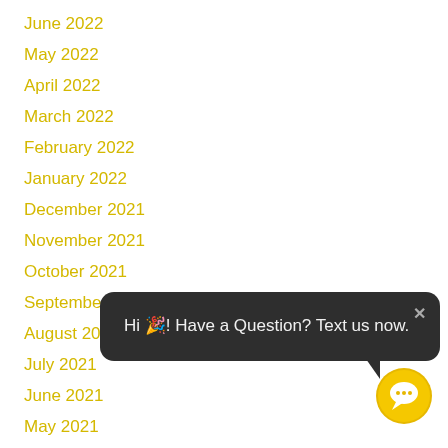June 2022
May 2022
April 2022
March 2022
February 2022
January 2022
December 2021
November 2021
October 2021
September 2...
August 2021
July 2021
June 2021
May 2021
[Figure (screenshot): Dark rounded chat bubble with text 'Hi 🎉! Have a Question? Text us now.' and a close (×) button in the top right corner, with a speech bubble tail pointing down-right. Below the bubble is a yellow circular chat icon with speech bubble symbol.]